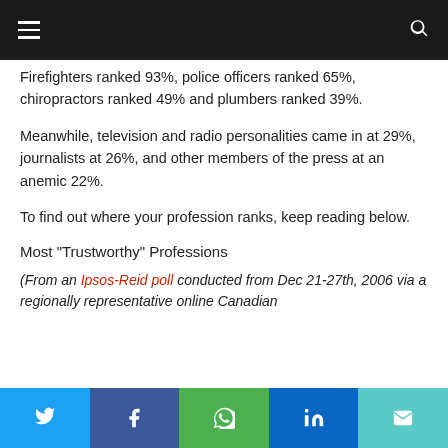☰  🔍
Firefighters ranked 93%, police officers ranked 65%, chiropractors ranked 49% and plumbers ranked 39%.
Meanwhile, television and radio personalities came in at 29%, journalists at 26%, and other members of the press at an anemic 22%.
To find out where your profession ranks, keep reading below.
Most "Trustworthy" Professions
(From an Ipsos-Reid poll conducted from Dec 21-27th, 2006 via a regionally representative online Canadian
Twitter | Facebook | WhatsApp | LinkedIn | Email